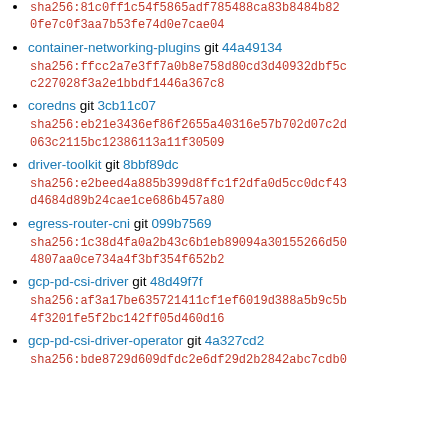sha256:81c0ff1c54f5865adf785488ca83b8484b820fe7c0f3aa7b53fe74d0e7cae04
container-networking-plugins git 44a49134
sha256:ffcc2a7e3ff7a0b8e758d80cd3d40932dbf5cc227028f3a2e1bbdf1446a367c8
coredns git 3cb11c07
sha256:eb21e3436ef86f2655a40316e57b702d07c2d063c2115bc12386113a11f30509
driver-toolkit git 8bbf89dc
sha256:e2beed4a885b399d8ffc1f2dfa0d5cc0dcf43d4684d89b24cae1ce686b457a80
egress-router-cni git 099b7569
sha256:1c38d4fa0a2b43c6b1eb89094a30155266d504807aa0ce734a4f3bf354f652b2
gcp-pd-csi-driver git 48d49f7f
sha256:af3a17be635721411cf1ef6019d388a5b9c5b4f3201fe5f2bc142ff05d460d16
gcp-pd-csi-driver-operator git 4a327cd2
sha256:bde8729d609dfdc2e6df29d2b2842abc7cdb0